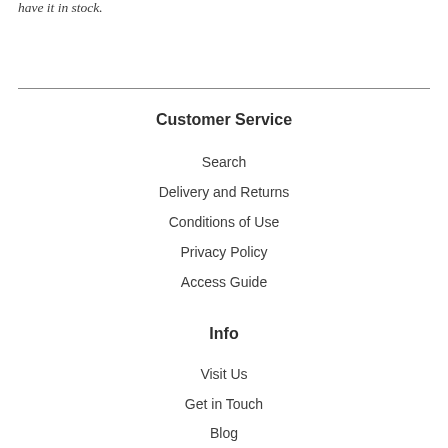have it in stock.
Customer Service
Search
Delivery and Returns
Conditions of Use
Privacy Policy
Access Guide
Info
Visit Us
Get in Touch
Blog